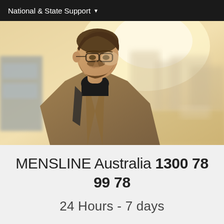National & State Support
[Figure (photo): Man with glasses and beard wearing a brown coat and black turtleneck with a backpack, standing outdoors in warm sunlight near a street or station]
MENSLINE Australia 1300 78 99 78
24 Hours - 7 days